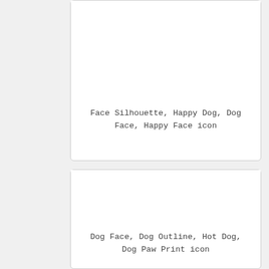[Figure (illustration): White card with empty image area at top]
Face Silhouette, Happy Dog, Dog Face, Happy Face icon
[Figure (illustration): White card with empty image area at top]
Dog Face, Dog Outline, Hot Dog, Dog Paw Print icon